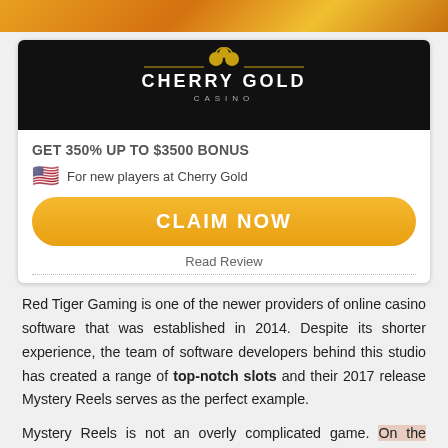[Figure (screenshot): Top banner with orange/gold slot machine imagery]
[Figure (logo): Cherry Gold Casino logo on black background with gold cherry icon and decorative lines]
GET 350% UP TO $3500 BONUS
🇺🇸 For new players at Cherry Gold
CLAIM NOW
Read Review
Red Tiger Gaming is one of the newer providers of online casino software that was established in 2014. Despite its shorter experience, the team of software developers behind this studio has created a range of top-notch slots and their 2017 release Mystery Reels serves as the perfect example.
Mystery Reels is not an overly complicated game. On the contrary, it uses classic fruit symbols on a standard 5×3